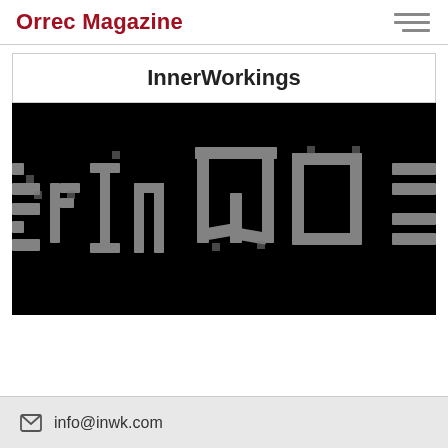Orrec Magazine
InnerWorkings
[Figure (photo): Close-up pixelated/low-resolution text reading 'InnerWorkings' in large gray letters on a black background, heavily cropped so only parts of the letters 'erWo' are fully visible.]
info@inwk.com